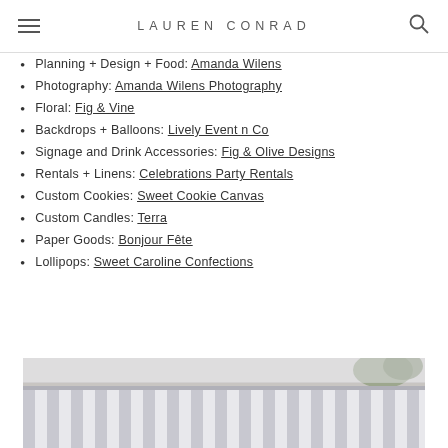LAUREN CONRAD
Planning + Design + Food: Amanda Wilens
Photography: Amanda Wilens Photography
Floral: Fig & Vine
Backdrops + Balloons: Lively Event n Co
Signage and Drink Accessories: Fig & Olive Designs
Rentals + Linens: Celebrations Party Rentals
Custom Cookies: Sweet Cookie Canvas
Custom Candles: Terra
Paper Goods: Bonjour Fête
Lollipops: Sweet Caroline Confections
[Figure (photo): Striped awning/canopy in grey and white stripes, partial view of building roofline and sky with trees in background]